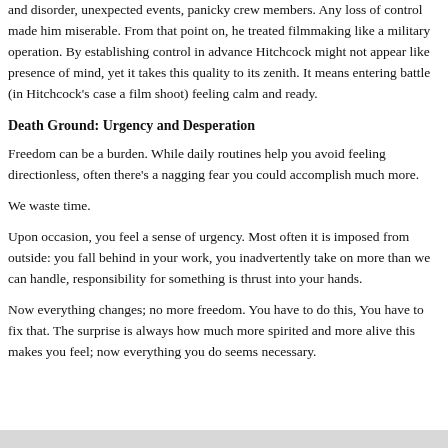and disorder, unexpected events, panicky crew members. Any loss of control made him miserable. From that point on, he treated filmmaking like a military operation. By establishing control in advance Hitchcock might not appear like presence of mind, yet it takes this quality to its zenith. It means entering battle (in Hitchcock's case a film shoot) feeling calm and ready.
Death Ground: Urgency and Desperation
Freedom can be a burden. While daily routines help you avoid feeling directionless, often there's a nagging fear you could accomplish much more.
We waste time.
Upon occasion, you feel a sense of urgency. Most often it is imposed from outside: you fall behind in your work, you inadvertently take on more than we can handle, responsibility for something is thrust into your hands.
Now everything changes; no more freedom. You have to do this, You have to fix that. The surprise is always how much more spirited and more alive this makes you feel; now everything you do seems necessary.